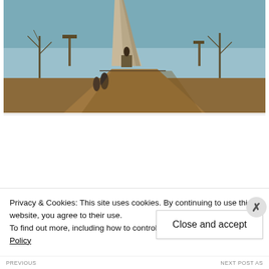[Figure (photo): Outdoor photo showing a tall obelisk monument with a bronze statue at its base, people walking nearby, bare winter trees, and a clear blue sky.]
[Figure (photo): Circular avatar/profile photo of a man with beard and sunglasses, wearing a beige shirt, in a thinking pose.]
Privacy & Cookies: This site uses cookies. By continuing to use this website, you agree to their use.
To find out more, including how to control cookies, see here: Cookie Policy
Close and accept